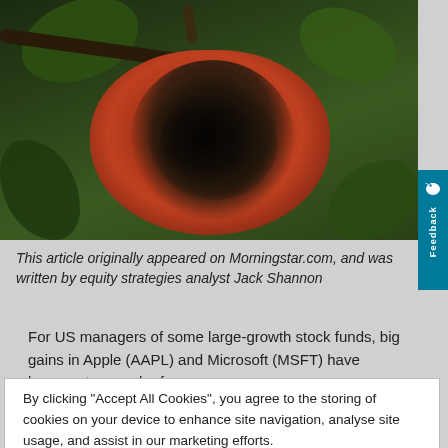[Figure (photo): A rotten apple hanging on a tree branch surrounded by green leaves, showing significant decay at the core of the fruit.]
This article originally appeared on Morningstar.com, and was written by equity strategies analyst Jack Shannon
For US managers of some large-growth stock funds, big gains in Apple (AAPL) and Microsoft (MSFT) have become too much of a
By clicking “Accept All Cookies”, you agree to the storing of cookies on your device to enhance site navigation, analyse site usage, and assist in our marketing efforts.